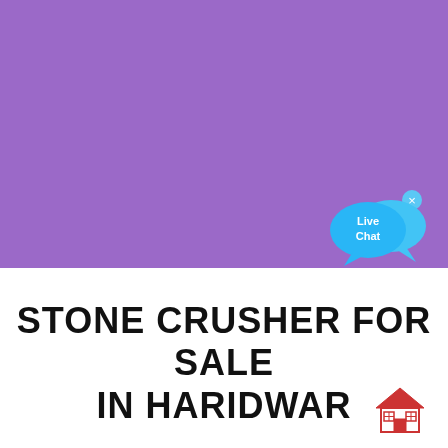[Figure (illustration): Purple banner background covering top half of page]
[Figure (illustration): Live Chat widget with two speech bubbles in cyan/blue on the purple background, with an x close button]
STONE CRUSHER FOR SALE IN HARIDWAR
[Figure (illustration): Small red house/building emoji icon at bottom right corner]